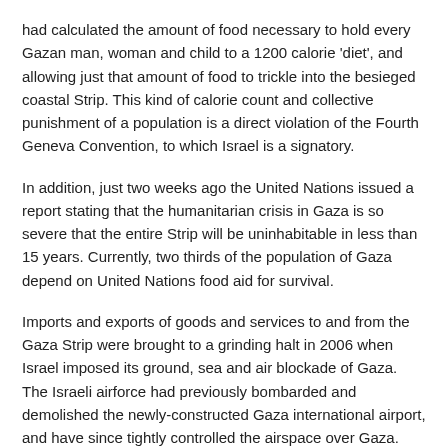had calculated the amount of food necessary to hold every Gazan man, woman and child to a 1200 calorie 'diet', and allowing just that amount of food to trickle into the besieged coastal Strip. This kind of calorie count and collective punishment of a population is a direct violation of the Fourth Geneva Convention, to which Israel is a signatory.
In addition, just two weeks ago the United Nations issued a report stating that the humanitarian crisis in Gaza is so severe that the entire Strip will be uninhabitable in less than 15 years. Currently, two thirds of the population of Gaza depend on United Nations food aid for survival.
Imports and exports of goods and services to and from the Gaza Strip were brought to a grinding halt in 2006 when Israel imposed its ground, sea and air blockade of Gaza. The Israeli airforce had previously bombarded and demolished the newly-constructed Gaza international airport, and have since tightly controlled the airspace over Gaza. The only air traffic allowed is the Israeli airforce missions to bombard the residents of the Gaza Strip.